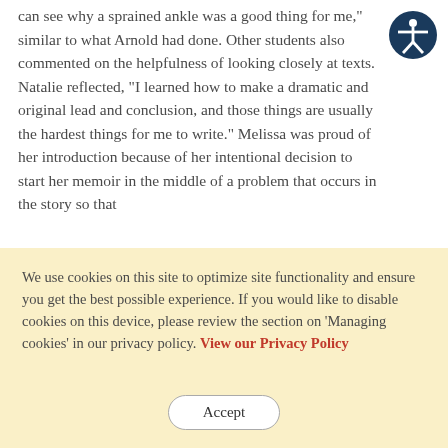can see why a sprained ankle was a good thing for me," similar to what Arnold had done. Other students also commented on the helpfulness of looking closely at texts. Natalie reflected, “I learned how to make a dramatic and original lead and conclusion, and those things are usually the hardest things for me to write.” Melissa was proud of her introduction because of her intentional decision to start her memoir in the middle of a problem that occurs in the story so that
[Figure (illustration): Accessibility icon: dark blue circle with a white stick figure person with arms outstretched]
We use cookies on this site to optimize site functionality and ensure you get the best possible experience. If you would like to disable cookies on this device, please review the section on 'Managing cookies' in our privacy policy. View our Privacy Policy
Accept